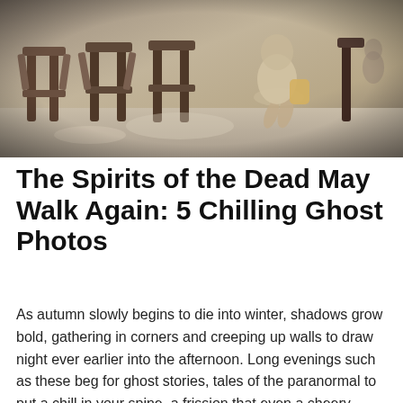[Figure (photo): A vintage/sepia-toned photograph of a person (or ghost figure) sitting on wooden church pews or benches, viewed from behind. The image is desaturated and atmospheric.]
The Spirits of the Dead May Walk Again: 5 Chilling Ghost Photos
As autumn slowly begins to die into winter, shadows grow bold, gathering in corners and creeping up walls to draw night ever earlier into the afternoon. Long evenings such as these beg for ghost stories, tales of the paranormal to put a chill in your spine, a frission that even a cheery hearth … Continue reading →